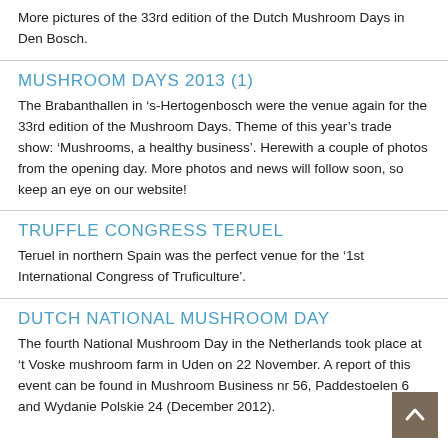More pictures of the 33rd edition of the Dutch Mushroom Days in Den Bosch.
MUSHROOM DAYS 2013 (1)
The Brabanthallen in ‘s-Hertogenbosch were the venue again for the 33rd edition of the Mushroom Days. Theme of this year’s trade show: ‘Mushrooms, a healthy business’. Herewith a couple of photos from the opening day. More photos and news will follow soon, so keep an eye on our website!
TRUFFLE CONGRESS TERUEL
Teruel in northern Spain was the perfect venue for the ‘1st International Congress of Truficulture’.
DUTCH NATIONAL MUSHROOM DAY
The fourth National Mushroom Day in the Netherlands took place at ‘t Voske mushroom farm in Uden on 22 November. A report of this event can be found in Mushroom Business nr 56, Paddestoelen 6 and Wydanie Polskie 24 (December 2012).